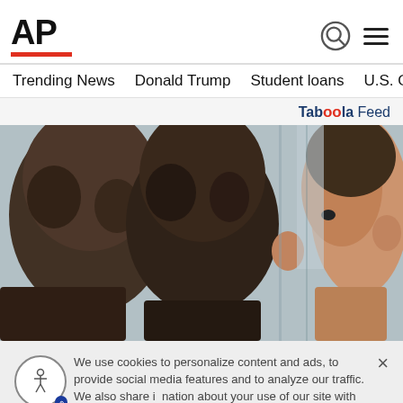AP
Trending News   Donald Trump   Student loans   U.S. Open Tenn
Taboola Feed
[Figure (photo): Close-up photo showing the backs and side profiles of several young men's heads with short hair cuts, in a crowded setting.]
We use cookies to personalize content and ads, to provide social media features and to analyze our traffic. We also share information about your use of our site with our social media, advertising and analytics partners. Privacy Policy
Cookies Settings   Accept All Cookies